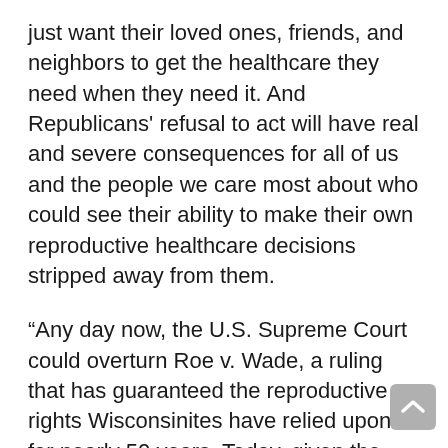just want their loved ones, friends, and neighbors to get the healthcare they need when they need it. And Republicans' refusal to act will have real and severe consequences for all of us and the people we care most about who could see their ability to make their own reproductive healthcare decisions stripped away from them.
“Any day now, the U.S. Supreme Court could overturn Roe v. Wade, a ruling that has guaranteed the reproductive rights Wisconsinites have relied upon for nearly 50 years. Today, given the opportunity to protect those very rights, Republicans balked, leaving women and families across the state behind and providing no certainty or security for accessing the reproductive healthcare every person deserves. And, in doing so, they are helping to ensure our kids and grandkids grow up in a world where they have fewer rights than we did